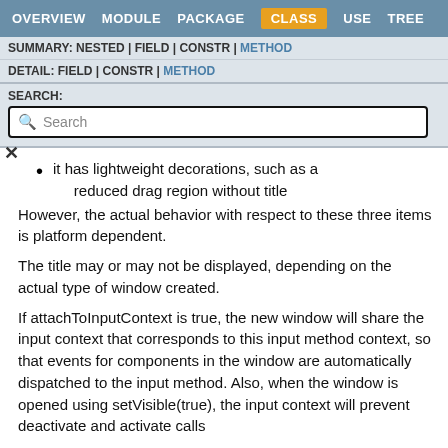OVERVIEW  MODULE  PACKAGE  CLASS  USE  TREE
SUMMARY: NESTED | FIELD | CONSTR | METHOD
DETAIL: FIELD | CONSTR | METHOD
SEARCH:
it has lightweight decorations, such as a reduced drag region without title
However, the actual behavior with respect to these three items is platform dependent.
The title may or may not be displayed, depending on the actual type of window created.
If attachToInputContext is true, the new window will share the input context that corresponds to this input method context, so that events for components in the window are automatically dispatched to the input method. Also, when the window is opened using setVisible(true), the input context will prevent deactivate and activate calls